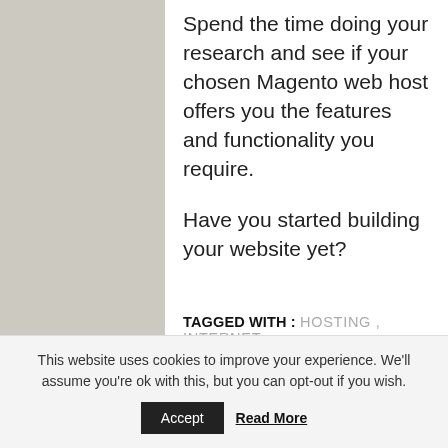Spend the time doing your research and see if your chosen Magento web host offers you the features and functionality you require.
Have you started building your website yet?
TAGGED WITH : HOSTING , INTERNET
Here's Why Big Data Is the Future of Fleet Management
This website uses cookies to improve your experience. We'll assume you're ok with this, but you can opt-out if you wish.